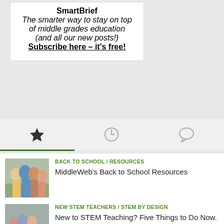SmartBrief
The smarter way to stay on top of middle grades education (and all our new posts!)
Subscribe here – it's free!
[Figure (other): Navigation tab bar with star icon (active), clock icon, and speech bubble icon]
BACK TO SCHOOL / RESOURCES
MiddleWeb's Back to School Resources
[Figure (photo): Group of smiling middle school students standing together]
NEW STEM TEACHERS / STEM BY DESIGN
New to STEM Teaching? Five Things to Do Now.
[Figure (photo): Students working on a STEM activity at a table]